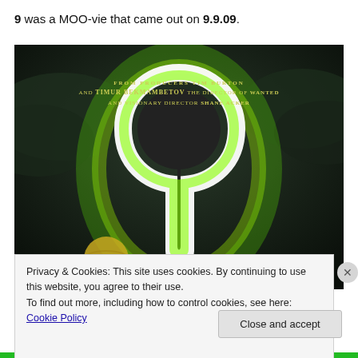9 was a MOO-vie that came out on 9.9.09.
[Figure (photo): Movie poster for the animated film '9', showing a glowing green silhouette of a figure against a dark cloudy sky. Text reads: FROM PRODUCERS TIM BURTON AND TIMUR BEKMAMBETOV THE DIRECTOR OF WANTED AND VISIONARY DIRECTOR SHANE ACKER]
Privacy & Cookies: This site uses cookies. By continuing to use this website, you agree to their use.
To find out more, including how to control cookies, see here: Cookie Policy
Close and accept